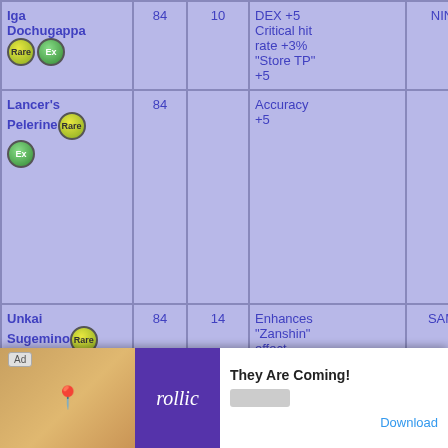| Name | Lv | Item Lv | Effect | Job |
| --- | --- | --- | --- | --- |
| Iga Dochugappa [Rare][Ex] | 84 | 10 | DEX +5 Critical hit rate +3% "Store TP" +5 | NIN |
| Lancer's Pelerine [Rare][Ex] | 84 |  | Accuracy +5 |  |
| Unkai Sugemino [Rare][Ex] | 84 | 14 | Enhances "Zanshin" effect | SAM |
| Sylva Chla... [Ex] |  |  | STR +6 AGI ... |  |
[Figure (screenshot): Black video player overlay with circular loading spinner]
[Figure (screenshot): Ad banner: 'Ad' label, game image with pin icon, Rollic purple logo, 'They Are Coming!' title, Download button]